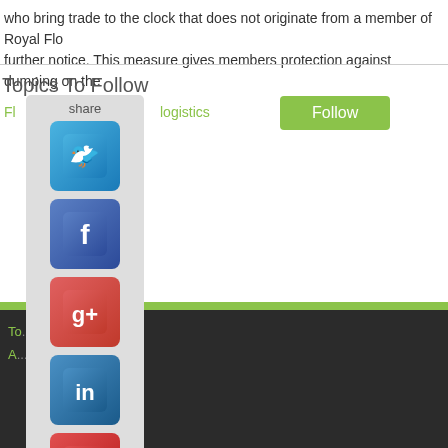who bring trade to the clock that does not originate from a member of Royal Flo... further notice. This measure gives members protection against dumping on the...
Topics To Follow
Fl... logistics
[Figure (screenshot): Social share sidebar with Twitter, Facebook, Google+, LinkedIn, Pinterest icons and Contact/email section]
To... se
A... nt Information